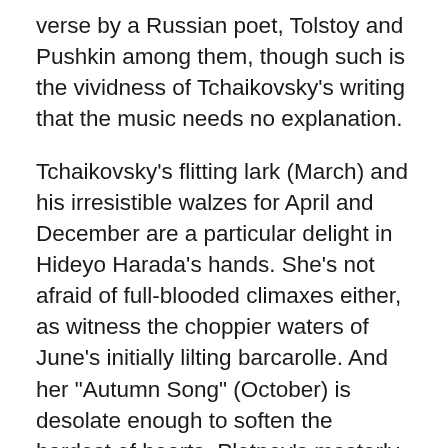verse by a Russian poet, Tolstoy and Pushkin among them, though such is the vividness of Tchaikovsky's writing that the music needs no explanation.
Tchaikovsky's flitting lark (March) and his irresistible walzes for April and December are a particular delight in Hideyo Harada's hands. She's not afraid of full-blooded climaxes either, as witness the choppier waters of June's initially lilting barcarolle. And her "Autumn Song" (October) is desolate enough to soften the hardest of hearts. Pletnev's masterly version remains a